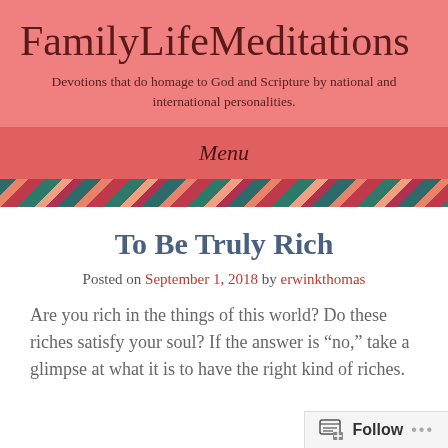FamilyLifeMeditations
Devotions that do homage to God and Scripture by national and international personalities.
Menu
To Be Truly Rich
Posted on September 1, 2018 by erwinkthomas
Are you rich in the things of this world?  Do these riches satisfy your soul?  If the answer is “no,” take a glimpse at what it is to have the right kind of riches.